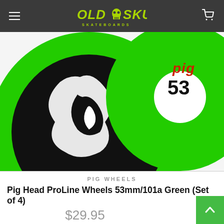OLD SKULL SKATEBOARDS
[Figure (photo): Close-up product photo of Pig Head ProLine skateboard wheels in green color with black pig head graphic and '53' size marking visible. Two wheels shown overlapping.]
PIG WHEELS
Pig Head ProLine Wheels 53mm/101a Green (Set of 4)
$29.95